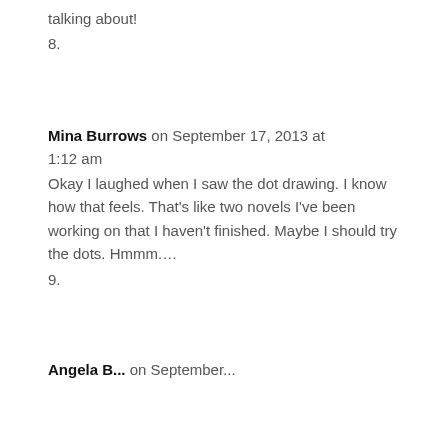talking about!
8.
Mina Burrows on September 17, 2013 at 1:12 am
Okay I laughed when I saw the dot drawing. I know how that feels. That's like two novels I've been working on that I haven't finished. Maybe I should try the dots. Hmmm….
9.
Angela B... on September...